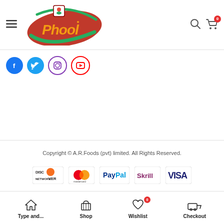[Figure (logo): Phool brand logo — red leaf shape with golden text 'Phool' and a small flower icon]
[Figure (infographic): Social media icons: Facebook (blue), Twitter (light blue), Instagram (purple border), YouTube (red border)]
Copyright © A.R.Foods (pvt) limited. All Rights Reserved.
[Figure (infographic): Payment method logos: Discover Network, Mastercard, PayPal, Skrill, VISA]
[Figure (infographic): Bottom navigation bar with icons: Type and..., Shop, Wishlist (badge 0), Checkout]